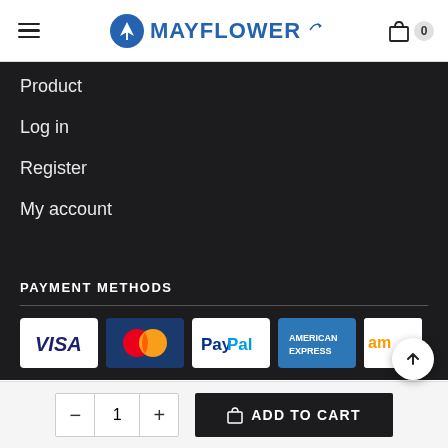MAYFLOWER
Product
Log in
Register
My account
PAYMENT METHODS
[Figure (logo): Payment method logos: VISA, MasterCard, PayPal, American Express, Amazon]
ADD TO CART